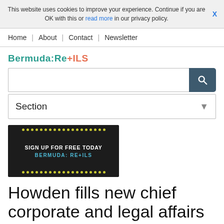This website uses cookies to improve your experience. Continue if you are OK with this or read more in our privacy policy.
Home | About | Contact | Newsletter
Bermuda:Re+ILS
[Figure (screenshot): Search input field with dark teal search button]
[Figure (infographic): Section dropdown selector]
[Figure (infographic): Black advertisement banner with yellow dots pattern and text: SIGN UP FOR FREE TODAY BERMUDA: RE+ILS]
Howden fills new chief corporate and legal affairs